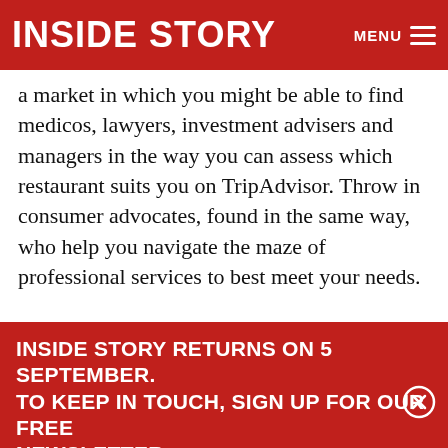INSIDE STORY
a market in which you might be able to find medicos, lawyers, investment advisers and managers in the way you can assess which restaurant suits you on TripAdvisor. Throw in consumer advocates, found in the same way, who help you navigate the maze of professional services to best meet your needs.
The analogy with TripAdvisor is facile, of course, journal. It could be achieved if pursued iteratively, building the institutions in situ with co-design and dialogue between practitioners,
INSIDE STORY RETURNS ON 5 SEPTEMBER. TO KEEP IN TOUCH, SIGN UP FOR OUR FREE NEWSLETTER…
Enter your email
SUBSCRIBE